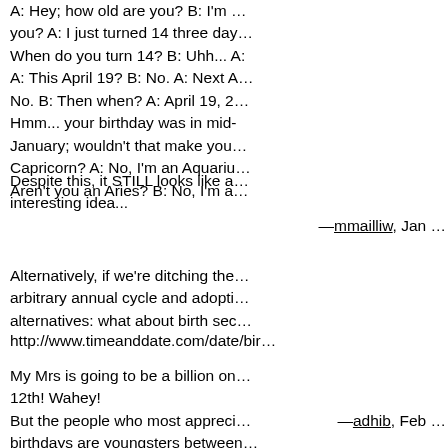A: Hey; how old are you? B: I'm ... you? A: I just turned 14 three day... When do you turn 14? B: Uhh... A: This April 19? B: No. A: Next A... No. B: Then when? A: April 19, 2... Hmm... your birthday was in mid- January; wouldn't that make you... Capricorn? A: No, I'm an Aquariu... Aren't you an Aries? B: No, I'm a...
Despite this, it STILL looks like a... interesting idea...
—mmailliw, Jan ...
Alternatively, if we're ditching the... arbitrary annual cycle and adopti... alternatives: what about birth sec...
http://www.timeanddate.com/date/bir...
My Mrs is going to be a billion on... 12th! Wahey!
—adhib, Feb ...
But the people who most appreci... birthdays are youngsters between... 21. Couldn't care less after that.